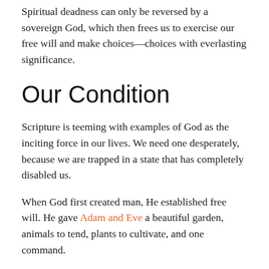Spiritual deadness can only be reversed by a sovereign God, which then frees us to exercise our free will and make choices—choices with everlasting significance.
Our Condition
Scripture is teeming with examples of God as the inciting force in our lives. We need one desperately, because we are trapped in a state that has completely disabled us.
When God first created man, He established free will. He gave Adam and Eve a beautiful garden, animals to tend, plants to cultivate, and one command.
Violating that command resulted in a spiritual flatline that became the genetic inheritance of all their offspring.